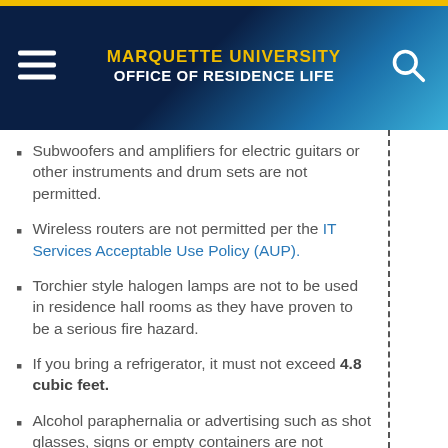MARQUETTE UNIVERSITY OFFICE OF RESIDENCE LIFE
Subwoofers and amplifiers for electric guitars or other instruments and drum sets are not permitted.
Wireless routers are not permitted per the IT Services Acceptable Use Policy (AUP).
Torchier style halogen lamps are not to be used in residence hall rooms as they have proven to be a serious fire hazard.
If you bring a refrigerator, it must not exceed 4.8 cubic feet.
Alcohol paraphernalia or advertising such as shot glasses, signs or empty containers are not allowed.